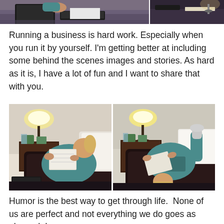[Figure (photo): Two side-by-side photos at top: left photo shows a person working on a bed with a laptop and binder on purple/blue bedding; right photo is a darker partial view of a similar scene.]
Running a business is hard work. Especially when you run it by yourself. I'm getting better at including some behind the scenes images and stories. As hard as it is, I have a lot of fun and I want to share that with you.
[Figure (photo): Two side-by-side photos: left photo shows a blonde woman in a teal sweater reading/working on a notepad while reclined in a dark leather chair with a lamp and nightstand behind her; right photo shows the same woman now lying upside-down off the chair in a humorous pose, still holding the notepad.]
Humor is the best way to get through life.  None of us are perfect and not everything we do goes as planned. I